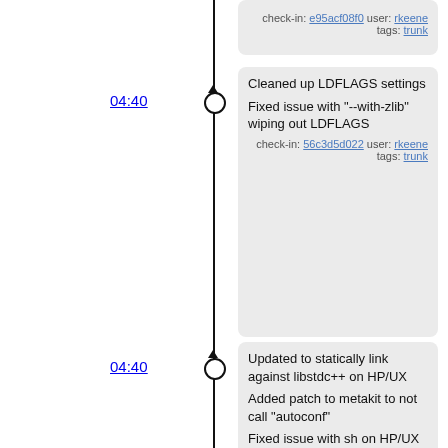check-in: e95acf08f0 user: rkeene tags: trunk
04:40
Cleaned up LDFLAGS settings

Fixed issue with "--with-zlib" wiping out LDFLAGS

check-in: 56c3d5d022 user: rkeene tags: trunk
04:40
Updated to statically link against libstdc++ on HP/UX

Added patch to metakit to not call "autoconf"

Fixed issue with sh on HP/UX (source versus ".")

Added support for statically linking to libgcc

check-in: 8ef7a1eb1a user: rkeene tags: trunk
04:40
KitCreator 0.0.8.x

Updated documentation regarding mipsel-linux cross-compiling

check-in: 7b805333b0 user: rkeene tags: trunk, 0.0.8